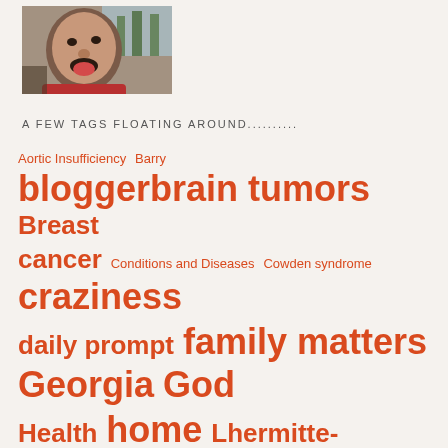[Figure (photo): A person making a silly face sticking out their tongue, photographed from a car interior with trees visible in background.]
A FEW TAGS FLOATING AROUND..........
Aortic Insufficiency Barry blogger brain tumors Breast cancer Conditions and Diseases Cowden syndrome craziness daily prompt family matters Georgia God Health home Lhermitte-Duclos Disease Love Massive right MCA stroke parenting rare genetic disorder sisters Sunshine time for yourself United States what next? WordPress